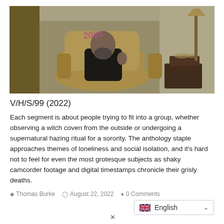[Figure (photo): An elderly person wearing a pink '2000' novelty glasses/headpiece, sitting in a beige armchair in a dimly lit room, giving a thumbs up. A side table with candles and decorative items is visible on the right, and a lamp stands in the background.]
V/H/S/99 (2022)
Each segment is about people trying to fit into a group, whether observing a witch coven from the outside or undergoing a supernatural hazing ritual for a sorority. The anthology staple approaches themes of loneliness and social isolation, and it's hard not to feel for even the most grotesque subjects as shaky camcorder footage and digital timestamps chronicle their grisly deaths.
Thomas Burke   August 22, 2022   0 Comments